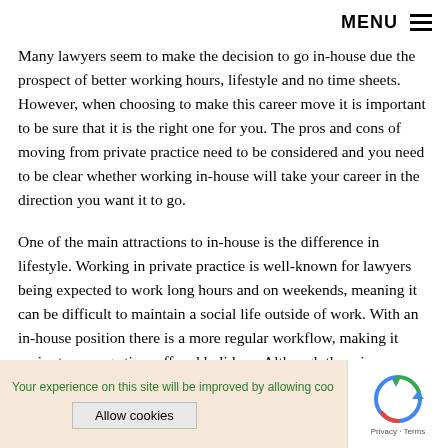MENU
Many lawyers seem to make the decision to go in-house due the prospect of better working hours, lifestyle and no time sheets. However, when choosing to make this career move it is important to be sure that it is the right one for you. The pros and cons of moving from private practice need to be considered and you need to be clear whether working in-house will take your career in the direction you want it to go.
One of the main attractions to in-house is the difference in lifestyle. Working in private practice is well-known for lawyers being expected to work long hours and on weekends, meaning it can be difficult to maintain a social life outside of work. With an in-house position there is a more regular workflow, making it easier to arrange time off and holidays. Although there is an improvement in lifestyle, you may still be required to work long hours if the company you join has
Your experience on this site will be improved by allowing coo
Allow cookies